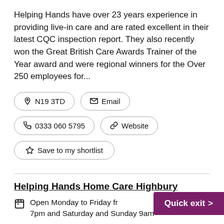Helping Hands have over 23 years experience in providing live-in care and are rated excellent in their latest CQC inspection report. They also recently won the Great British Care Awards Trainer of the Year award and were regional winners for the Over 250 employees for...
📍 N19 3TD
✉ Email
📞 0333 060 5795
🔗 Website
☆ Save to my shortlist
Helping Hands Home Care Highbury
Open Monday to Friday fr... 7pm and Saturday and Sunday 9am